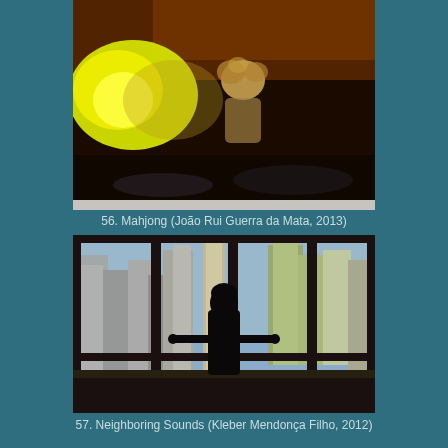[Figure (photo): Film still from Mahjong (2013): a blurry dark scene with a bright yellow-orange light on the left and a person with curly hair in the center-right, seated, against a dark background.]
56. Mahjong (João Rui Guerra da Mata, 2013)
[Figure (photo): Film still from Neighboring Sounds (2012): a silhouette of a woman standing at a large floor-to-ceiling window divided by dark vertical and horizontal bars, overlooking a dense cityscape of tall buildings.]
57. Neighboring Sounds (Kleber Mendonça Filho, 2012)